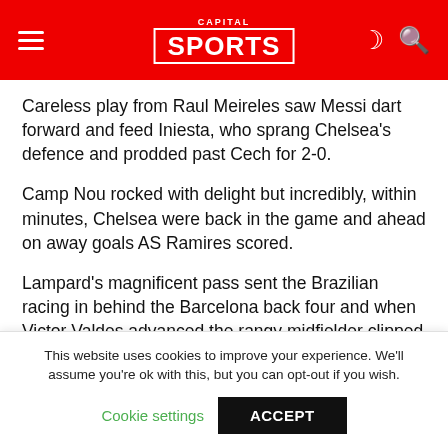CAPITAL SPORTS
Careless play from Raul Meireles saw Messi dart forward and feed Iniesta, who sprang Chelsea's defence and prodded past Cech for 2-0.
Camp Nou rocked with delight but incredibly, within minutes, Chelsea were back in the game and ahead on away goals AS Ramires scored.
Lampard's magnificent pass sent the Brazilian racing in behind the Barcelona back four and when Victor Valdes advanced the rangy midfielder clipped an exquisite chip into the net to make it 2-1 on the stroke of half-time
This website uses cookies to improve your experience. We'll assume you're ok with this, but you can opt-out if you wish.
Cookie settings  ACCEPT